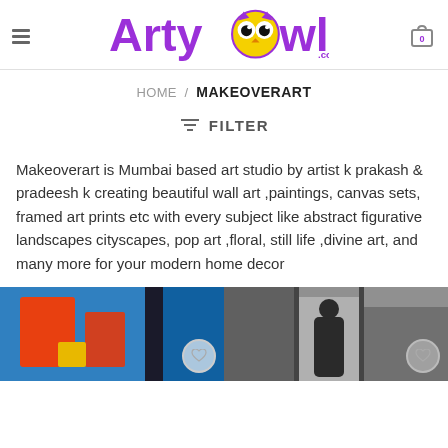ArtyOwl.com
HOME / MAKEOVERART
≡ FILTER
Makeoverart is Mumbai based art studio by artist k prakash & pradeesh k creating beautiful wall art ,paintings, canvas sets, framed art prints etc with every subject like abstract figurative landscapes cityscapes, pop art ,floral, still life ,divine art, and many more for your modern home decor
[Figure (photo): Colorful abstract painting with orange, blue and red shapes]
[Figure (photo): Black and white street art / mural photograph]